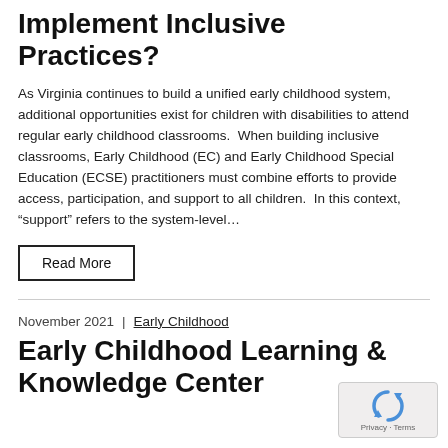Program Have the Foundation to Implement Inclusive Practices?
As Virginia continues to build a unified early childhood system, additional opportunities exist for children with disabilities to attend regular early childhood classrooms.  When building inclusive classrooms, Early Childhood (EC) and Early Childhood Special Education (ECSE) practitioners must combine efforts to provide access, participation, and support to all children.  In this context, “support” refers to the system-level…
Read More
November 2021  |  Early Childhood
Early Childhood Learning & Knowledge Center